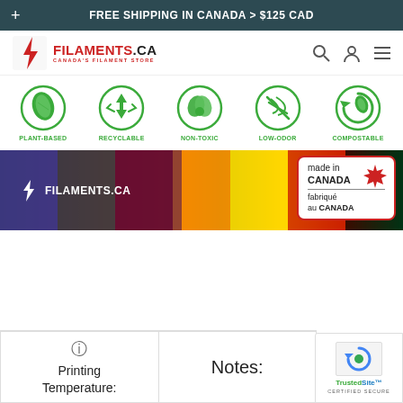FREE SHIPPING IN CANADA > $125 CAD
[Figure (logo): Filaments.ca logo with red lightning bolt and text FILAMENTS.CA CANADA'S FILAMENT STORE]
[Figure (infographic): Five green circular icons: PLANT-BASED, RECYCLABLE, NON-TOXIC, LOW-ODOR, COMPOSTABLE]
[Figure (photo): Banner showing colorful 3D printer filament spools with Filaments.ca logo and 'made in CANADA / fabriqué au CANADA' badge with maple leaf]
Printing Temperature:
Notes: